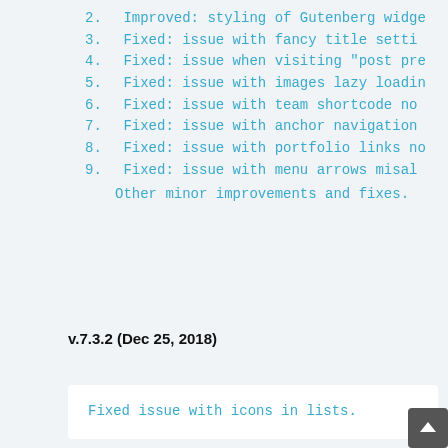2. Improved: styling of Gutenberg widge
3. Fixed: issue with fancy title setti
4. Fixed: issue when visiting "post pre
5. Fixed: issue with images lazy loadin
6. Fixed: issue with team shortcode no
7. Fixed: issue with anchor navigation
8. Fixed: issue with portfolio links no
9. Fixed: issue with menu arrows misal
Other minor improvements and fixes.
v.7.3.2 (Dec 25, 2018)
Fixed issue with icons in lists.